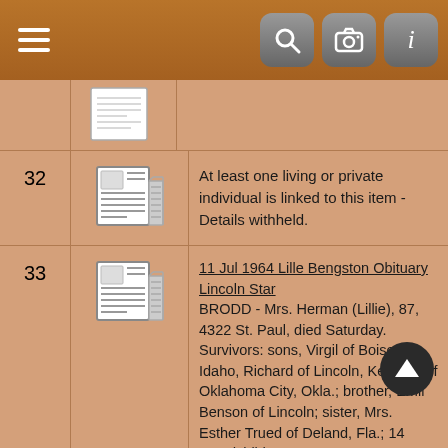Navigation bar with menu, search, camera, and info icons
| # | Icon | Description |
| --- | --- | --- |
|  |  | (partial document image) |
| 32 | newspaper-icon | At least one living or private individual is linked to this item - Details withheld. |
| 33 | newspaper-icon | 11 Jul 1964 Lille Bengston Obituary Lincoln Star
BRODD - Mrs. Herman (Lillie), 87, 4322 St. Paul, died Saturday. Survivors: sons, Virgil of Boise, Idaho, Richard of Lincoln, Kenneth of Oklahoma City, Okla.; brother, Emil Benson of Lincoln; sister, Mrs. Esther Trued of Deland, Fla.; 14 grandchildren; 14 great-grandchildren. |
| 34 | document-icon | 11 Mar 1923
Jermaine Whitehouse death certificate |
| 35 | newspaper-icon | 11 Mar 1955 Elton Brodd and Merva Hans wedding announcement Lincoln Star |